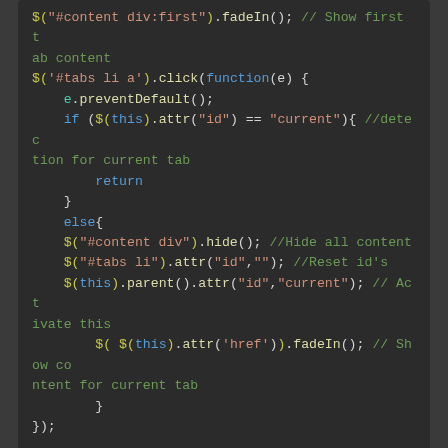[Figure (screenshot): Dark-themed code editor screenshot showing JavaScript jQuery tab code with syntax highlighting]
});
Siehe Demo: http://jsfiddle.net/pradeepk00786/5ezT3/